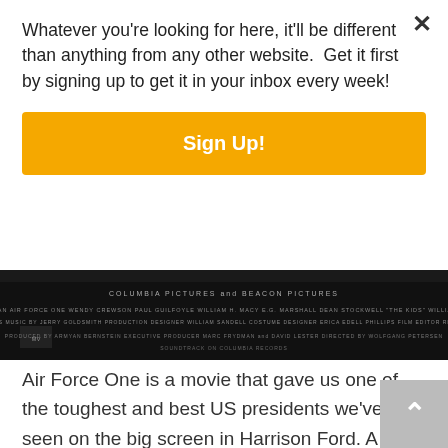[Figure (screenshot): Movie credits strip from Air Force One film, dark/black background with white small text credits]
Air Force One is a movie that gave us one of the toughest and best US presidents we've ever seen on the big screen in Harrison Ford. A tough, gritty, stop at nothing to get the job done president. How do we know this? Easy, because he is faced with the the task of getting back control of his presidential plane after it gets hijacked by one of the greatest movie villains ever, Gary Oldman. I mean, just the fact that Gary Oldman is in this movie, giving one of his iconic
Whatever you're looking for here, it'll be different than anything from any other website. Get it first by signing up to get it in your inbox every week!
Sign Up!